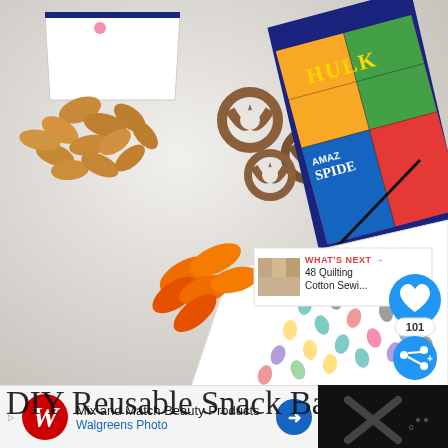[Figure (photo): DIY reusable snack bags photo showing almonds spilled from a white bag, pretzels, a Marvel Hulk/Spider-Man comic-print fabric bag, a white polka-dot bag, and orange carrot snacks on a white surface. Social sharing buttons (heart icon with 101 likes, share button) visible on right side. 'WHAT'S NEXT' panel showing '48 Quilting Cotton Sewi...' with thumbnail.]
DIY Reusable Snack Bags (handwritten style overlay)
DIY Reusable Snack
Mix and Match Beauty Products
Walgreens Photo
WHAT'S NEXT →
48 Quilting Cotton Sewi...
101